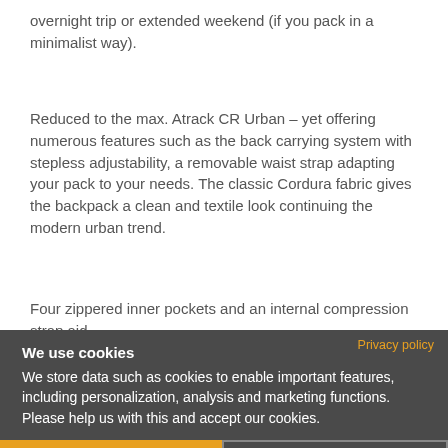overnight trip or extended weekend (if you pack in a minimalist way).
Reduced to the max. Atrack CR Urban – yet offering numerous features such as the back carrying system with stepless adjustability, a removable waist strap adapting your pack to your needs. The classic Cordura fabric gives the backpack a clean and textile look continuing the modern urban trend.
Four zippered inner pockets and an internal compression strap aid clean organizational packing and packing. Accessories and compressions straps fix to the daisy chains. The zipper in the back panel has the advantage – of preventing unauthorized access whilst travelling.
Privacy policy
We use cookies
We store data such as cookies to enable important features, including personalization, analysis and marketing functions. Please help us with this and accept our cookies.
OK, CONTINUE
NO, ADJUST
The Cordura fabric and the robust TIZIP zipper are 100%
PVC free NO, THANKS made in Germany.